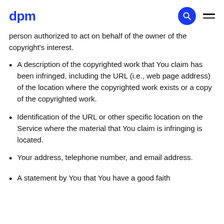dpm
person authorized to act on behalf of the owner of the copyright's interest.
A description of the copyrighted work that You claim has been infringed, including the URL (i.e., web page address) of the location where the copyrighted work exists or a copy of the copyrighted work.
Identification of the URL or other specific location on the Service where the material that You claim is infringing is located.
Your address, telephone number, and email address.
A statement by You that You have a good faith